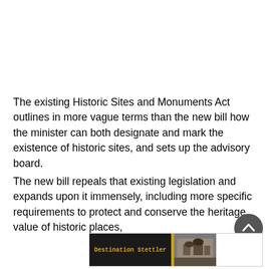The existing Historic Sites and Monuments Act outlines in more vague terms than the new bill how the minister can both designate and mark the existence of historic sites, and sets up the advisory board.
The new bill repeals that existing legislation and expands upon it immensely, including more specific requirements to protect and conserve the heritage value of historic places,
[Figure (other): Advertisement banner for Destination Stettler with black background, gold text, and a small historical photograph]